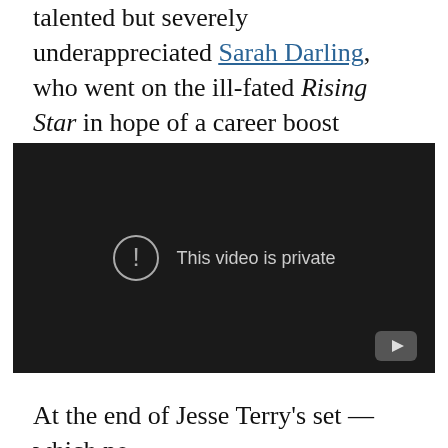talented but severely underappreciated Sarah Darling, who went on the ill-fated Rising Star in hope of a career boost (Spotify, Apple Music, Google Play).
[Figure (screenshot): Embedded YouTube video player showing 'This video is private' message with exclamation icon on dark background, YouTube logo in bottom-right corner.]
At the end of Jesse Terry's set — which no